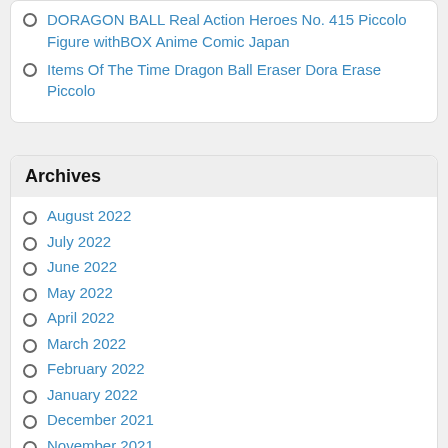DORAGON BALL Real Action Heroes No. 415 Piccolo Figure withBOX Anime Comic Japan
Items Of The Time Dragon Ball Eraser Dora Erase Piccolo
Archives
August 2022
July 2022
June 2022
May 2022
April 2022
March 2022
February 2022
January 2022
December 2021
November 2021
October 2021